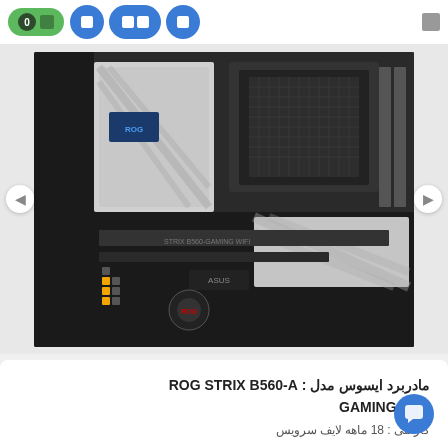Navigation bar with cart and menu icons
[Figure (photo): ASUS ROG STRIX B560-A GAMING WIFI motherboard photo in black and white/silver, showing PCIe slots, CPU socket, and circuit board components]
مادربرد ایسوس مدل : ROG STRIX B560-A GAMING WIFI
گارانتی : 18 ماهه لایف سرویس